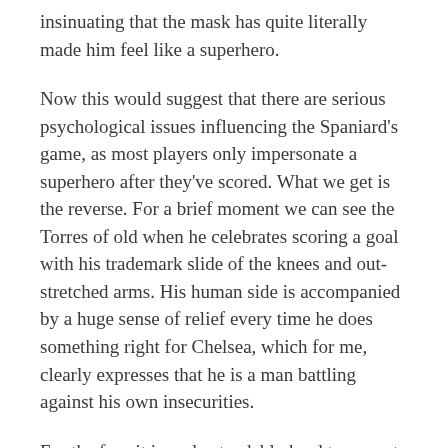insinuating that the mask has quite literally made him feel like a superhero.
Now this would suggest that there are serious psychological issues influencing the Spaniard's game, as most players only impersonate a superhero after they've scored. What we get is the reverse. For a brief moment we can see the Torres of old when he celebrates scoring a goal with his trademark slide of the knees and out-stretched arms. His human side is accompanied by a huge sense of relief every time he does something right for Chelsea, which for me, clearly expresses that he is a man battling against his own insecurities.
For the fans it is understandably hard to come to terms with, and in such a demanding position, the club can't really afford to rely on him. I for one can't help but sympathise for our number nine, and would take great pleasure in seeing him resolve his issues, if not for the